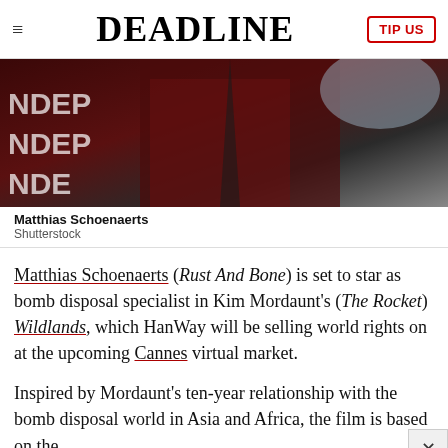DEADLINE | TIP US
[Figure (photo): Close-up photo of Matthias Schoenaerts in a dark burgundy/maroon suit with a dark tie, in front of a backdrop with 'INDEP' text visible]
Matthias Schoenaerts
Shutterstock
Matthias Schoenaerts (Rust And Bone) is set to star as bomb disposal specialist in Kim Mordaunt's (The Rocket) Wildlands, which HanWay will be selling world rights on at the upcoming Cannes virtual market.
Inspired by Mordaunt's ten-year relationship with the bomb disposal world in Asia and Africa, the film is based on the